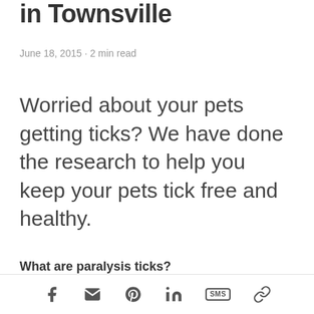in Townsville
June 18, 2015 · 2 min read
Worried about your pets getting ticks? We have done the research to help you keep your pets tick free and healthy.
What are paralysis ticks?
[Figure (other): Social sharing bar with icons for Facebook, email, Pinterest, LinkedIn, SMS, and link/copy]